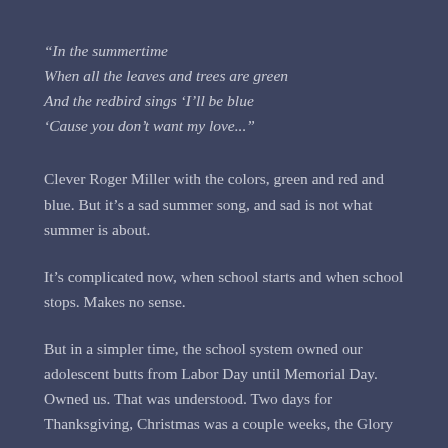“In the summertime When all the leaves and trees are green And the redbird sings ‘I’ll be blue ‘Cause you don’t want my love...”
Clever Roger Miller with the colors, green and red and blue. But it’s a sad summer song, and sad is not what summer is about.
It’s complicated now, when school starts and when school stops. Makes no sense.
But in a simpler time, the school system owned our adolescent butts from Labor Day until Memorial Day. Owned us. That was understood. Two days for Thanksgiving, Christmas was a couple weeks, the Glory